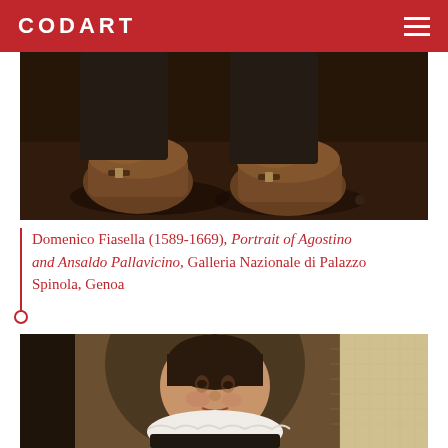CODART
[Figure (photo): Close-up detail of two feet wearing brown leather shoes/boots from a painting, set against a dark floor background. Detail from 'Portrait of Agostino and Ansaldo Pallavicino' by Domenico Fiasella.]
Domenico Fiasella (1589-1669), Portrait of Agostino and Ansaldo Pallavicino, Galleria Nazionale di Palazzo Spinola, Genoa
[Figure (photo): Partial view of a painting showing a young boy in profile/three-quarter view, wearing a white lace ruff collar and dark clothing. The background shows a dark architectural element on the left and a lighter beige/cream canvas texture on the right.]